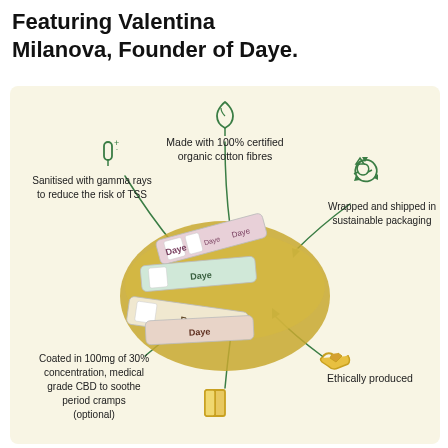Featuring Valentina Milanova, Founder of Daye.
[Figure (infographic): Infographic showing Daye CBD tampons in a gold bowl with feature callouts: Made with 100% certified organic cotton fibres (leaf icon), Sanitised with gamma rays to reduce the risk of TSS (tampon icon), Wrapped and shipped in sustainable packaging (recycle icon), Coated in 100mg of 30% concentration, medical grade CBD to soothe period cramps (optional), Ethically produced (handshake icon), and a book icon at the bottom.]